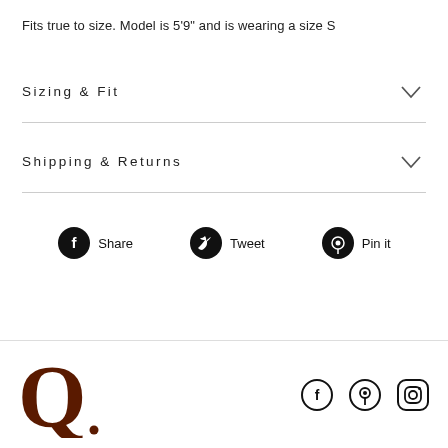Fits true to size. Model is 5'9" and is wearing a size S
Sizing & Fit
Shipping & Returns
[Figure (infographic): Social share buttons: Facebook Share, Twitter Tweet, Pinterest Pin it]
[Figure (logo): Q. brand logo in dark brown serif font]
[Figure (infographic): Footer social media icons: Facebook, Pinterest, Instagram]